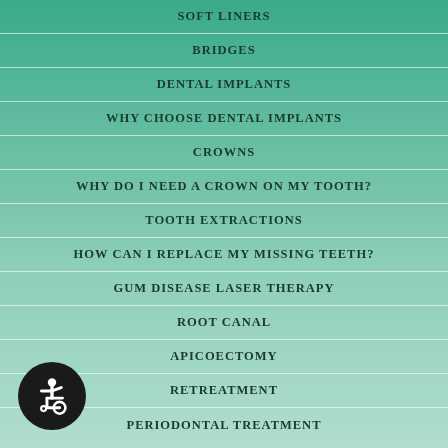SOFT LINERS
BRIDGES
DENTAL IMPLANTS
WHY CHOOSE DENTAL IMPLANTS
CROWNS
WHY DO I NEED A CROWN ON MY TOOTH?
TOOTH EXTRACTIONS
HOW CAN I REPLACE MY MISSING TEETH?
GUM DISEASE LASER THERAPY
ROOT CANAL
APICOECTOMY
RETREATMENT
PERIODONTAL TREATMENT
[Figure (illustration): Wheelchair accessibility icon — white person in wheelchair on black circular background, bottom left corner]